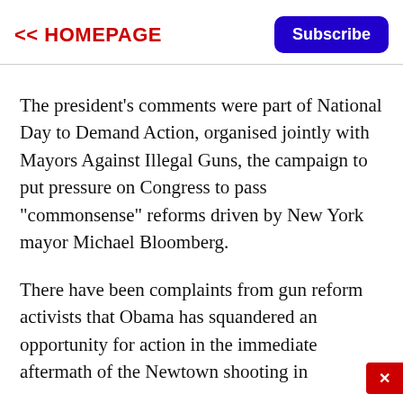<< HOMEPAGE
The president's comments were part of National Day to Demand Action, organised jointly with Mayors Against Illegal Guns, the campaign to put pressure on Congress to pass "commonsense" reforms driven by New York mayor Michael Bloomberg.
There have been complaints from gun reform activists that Obama has squandered an opportunity for action in the immediate aftermath of the Newtown shooting in December.